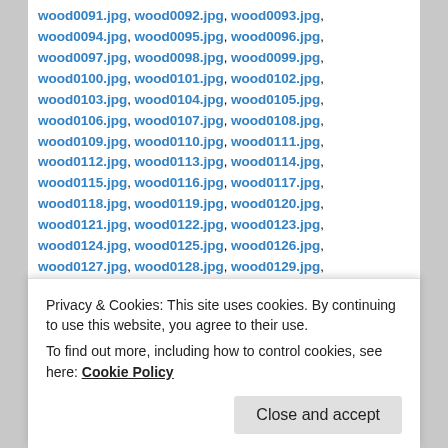wood0091.jpg, wood0092.jpg, wood0093.jpg, wood0094.jpg, wood0095.jpg, wood0096.jpg, wood0097.jpg, wood0098.jpg, wood0099.jpg, wood0100.jpg, wood0101.jpg, wood0102.jpg, wood0103.jpg, wood0104.jpg, wood0105.jpg, wood0106.jpg, wood0107.jpg, wood0108.jpg, wood0109.jpg, wood0110.jpg, wood0111.jpg, wood0112.jpg, wood0113.jpg, wood0114.jpg, wood0115.jpg, wood0116.jpg, wood0117.jpg, wood0118.jpg, wood0119.jpg, wood0120.jpg, wood0121.jpg, wood0122.jpg, wood0123.jpg, wood0124.jpg, wood0125.jpg, wood0126.jpg, wood0127.jpg, wood0128.jpg, wood0129.jpg, wood0130.jpg, wood0131.jpg, wood0132.jpg, wood0134.jpg, wood0136.jpg, wood0137.jpg, wood0138.jpg, wood0139.jpg, wood0140.jpg, wood0141.jpg, wood0142.jpg, wood0143.jpg,
Privacy & Cookies: This site uses cookies. By continuing to use this website, you agree to their use. To find out more, including how to control cookies, see here: Cookie Policy